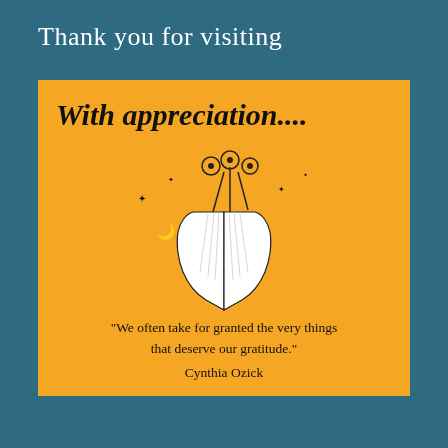Thank you for visiting
[Figure (illustration): Orange card with cursive text 'With appreciation...', illustration of praying hands holding flowers with stars and a crescent moon, and a quote by Cynthia Ozick: 'We often take for granted the very things that deserve our gratitude.']